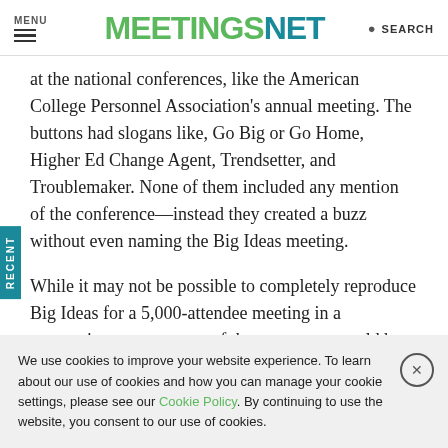MENU | MEETINGSNET | SEARCH
at the national conferences, like the American College Personnel Association's annual meeting. The buttons had slogans like, Go Big or Go Home, Higher Ed Change Agent, Trendsetter, and Troublemaker. None of them included any mention of the conference—instead they created a buzz without even naming the Big Ideas meeting.
While it may not be possible to completely reproduce Big Ideas for a 5,000-attendee meeting in a convention center, many of these concepts could be applied to any conference, says Brown.
We use cookies to improve your website experience. To learn about our use of cookies and how you can manage your cookie settings, please see our Cookie Policy. By continuing to use the website, you consent to our use of cookies.